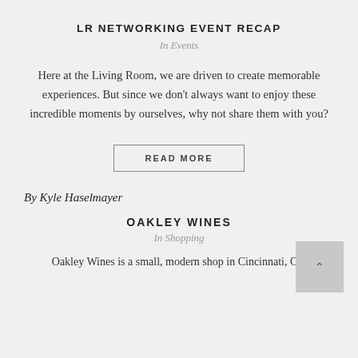LR NETWORKING EVENT RECAP
In Events
Here at the Living Room, we are driven to create memorable experiences. But since we don't always want to enjoy these incredible moments by ourselves, why not share them with you?
READ MORE
By Kyle Haselmayer
OAKLEY WINES
In Shopping
Oakley Wines is a small, modern shop in Cincinnati, OH